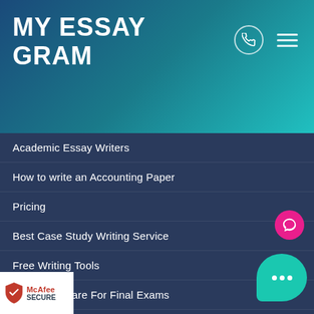MY ESSAY GRAM
Academic Essay Writers
How to write an Accounting Paper
Pricing
Best Case Study Writing Service
Free Writing Tools
How to Prepare For Final Exams
Free Plagiarism Checker
Do my Homework Service
Bibliography Generator
Writing an annotated Bibliography
Free college GPA calculator
...nt Essays
...utes Converter for Speech